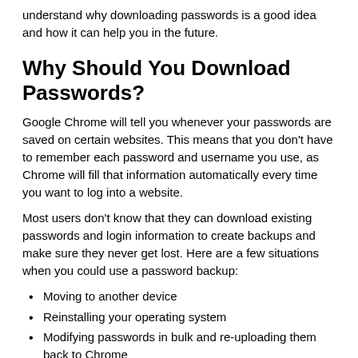understand why downloading passwords is a good idea and how it can help you in the future.
Why Should You Download Passwords?
Google Chrome will tell you whenever your passwords are saved on certain websites. This means that you don't have to remember each password and username you use, as Chrome will fill that information automatically every time you want to log into a website.
Most users don't know that they can download existing passwords and login information to create backups and make sure they never get lost. Here are a few situations when you could use a password backup:
Moving to another device
Reinstalling your operating system
Modifying passwords in bulk and re-uploading them back to Chrome
Need to change passwords due to possible information theft